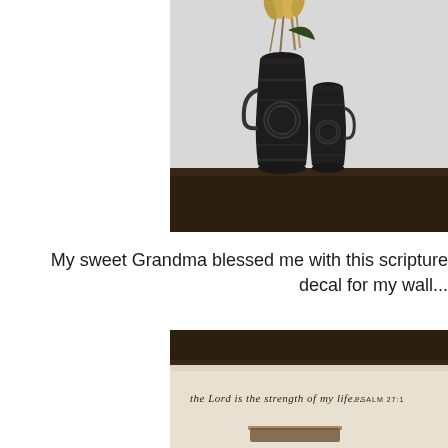[Figure (photo): Two dark black/charcoal vintage-style milk jugs/canisters with a dried wheat/grass arrangement on a dark wooden surface against a light grey wall.]
My sweet Grandma blessed me with this scripture decal for my wall...
[Figure (photo): A wall with a cursive scripture decal reading 'the Lord is the strength of my life... PSALM 27:1' above a dark wooden shelf or mantle.]